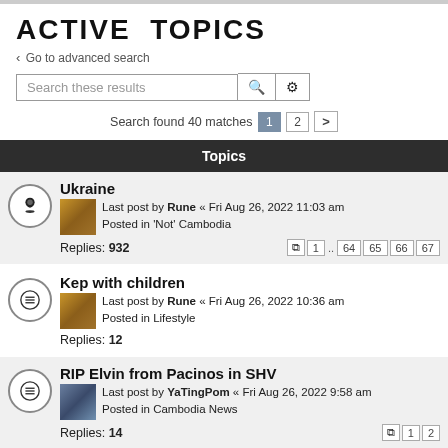ACTIVE TOPICS
< Go to advanced search
Search these results
Search found 40 matches  1  2  >
Topics
Ukraine
Last post by Rune « Fri Aug 26, 2022 11:03 am
Posted in 'Not' Cambodia
Replies: 932   1 ... 64 65 66 67
Kep with children
Last post by Rune « Fri Aug 26, 2022 10:36 am
Posted in Lifestyle
Replies: 12
RIP Elvin from Pacinos in SHV
Last post by YaTingPom « Fri Aug 26, 2022 9:58 am
Posted in Cambodia News
Replies: 14   1 2